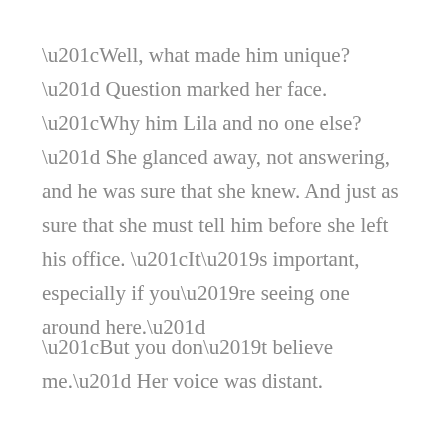“Well, what made him unique?” Question marked her face. “Why him Lila and no one else?” She glanced away, not answering, and he was sure that she knew. And just as sure that she must tell him before she left his office. “It’s important, especially if you’re seeing one around here.”
“But you don’t believe me.” Her voice was distant.